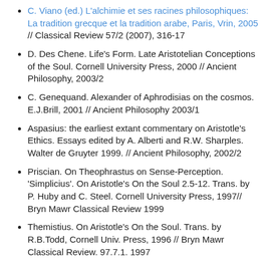C. Viano (ed.) L'alchimie et ses racines philosophiques: La tradition grecque et la tradition arabe, Paris, Vrin, 2005 // Classical Review 57/2 (2007), 316-17
D. Des Chene. Life's Form. Late Aristotelian Conceptions of the Soul. Cornell University Press, 2000 // Ancient Philosophy, 2003/2
C. Genequand. Alexander of Aphrodisias on the cosmos. E.J.Brill, 2001 // Ancient Philosophy 2003/1
Aspasius: the earliest extant commentary on Aristotle's Ethics. Essays edited by A. Alberti and R.W. Sharples. Walter de Gruyter 1999. // Ancient Philosophy, 2002/2
Priscian. On Theophrastus on Sense-Perception. 'Simplicius'. On Aristotle's On the Soul 2.5-12. Trans. by P. Huby and C. Steel. Cornell University Press, 1997// Bryn Mawr Classical Review 1999
Themistius. On Aristotle's On the Soul. Trans. by R.B.Todd, Cornell Univ. Press, 1996 // Bryn Mawr Classical Review. 97.7.1. 1997